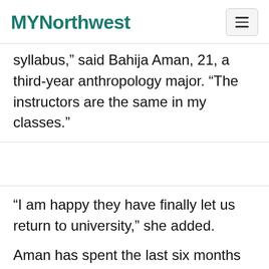MYNorthwest
syllabus,” said Bahija Aman, 21, a third-year anthropology major. “The instructors are the same in my classes.”
“I am happy they have finally let us return to university,” she added.
Aman has spent the last six months at home. Her text books are neatly piled on her desk, where she has spent most of her time